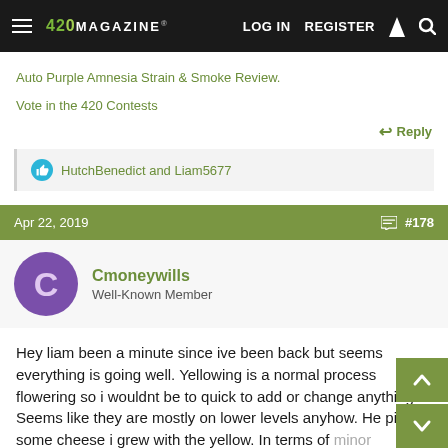420 MAGAZINE® | LOG IN | REGISTER
Auto Purple Amnesia Strain & Smoke Review.
Vote in the 420 Contests
↩ Reply
👍 HutchBenedict and Liam5677
Apr 22, 2019    #178
Cmoneywills
Well-Known Member
Hey liam been a minute since ive been back but seems everything is going well. Yellowing is a normal process flowering so i wouldnt be to quick to add or change anything. Seems like they are mostly on lower levels anyhow. He pic of some cheese i grew with the yellow. In terms of minor